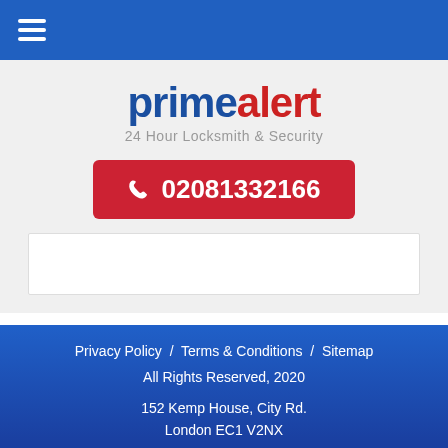Navigation bar with hamburger menu
[Figure (logo): PrimeAlert logo - 24 Hour Locksmith & Security]
02081332166
Privacy Policy / Terms & Conditions / Sitemap
All Rights Reserved, 2020
152 Kemp House, City Rd.
London EC1 V2NX